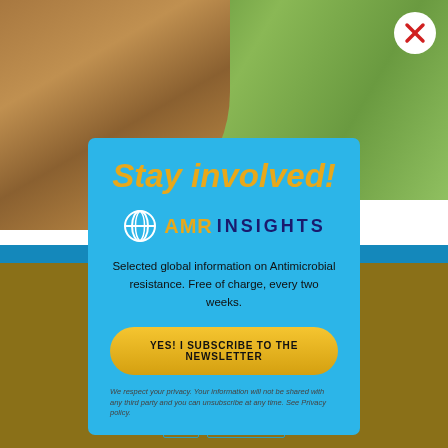[Figure (screenshot): Website screenshot with a bear photo in the background (brown bear on green grass), a blue modal popup overlaying the center, and a gold/dark cookie consent bar at the bottom. A white circular close button with a red X is at the top-right.]
Stay involved!
[Figure (logo): AMR Insights logo: a white globe/network icon followed by 'AMR' in gold/orange bold text and 'INSIGHTS' in dark blue bold spaced text]
Selected global information on Antimicrobial resistance. Free of charge, every two weeks.
YES! I SUBSCRIBE TO THE NEWSLETTER
We respect your privacy. Your information will not be shared with any third party and you can unsubscribe at any time. See Privacy policy.
agree to this.
Ok   Privacy policy